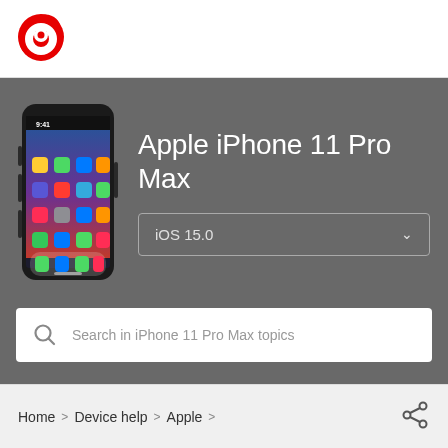[Figure (logo): Vodafone red circular logo mark]
Apple iPhone 11 Pro Max
iOS 15.0
Search in iPhone 11 Pro Max topics
Home > Device help > Apple >